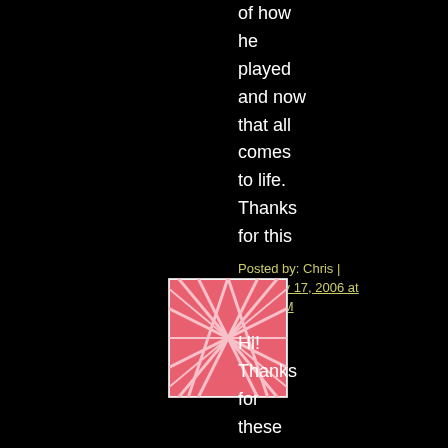of how he played and now that all comes to life. Thanks for this
Posted by: Chris | February 17, 2006 at 05:41 PM
[Figure (illustration): Square avatar image with pink/red abstract criss-cross line pattern on a white background]
Hi! Thanks for these wonderft clips. As a jazz player, I just